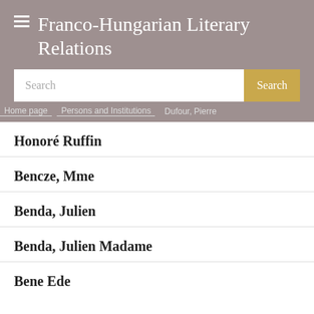Franco-Hungarian Literary Relations
[Figure (screenshot): Search bar with placeholder text 'Search' and a golden 'Search' button]
Home page > Persons and Institutions > Dufour, Pierre
Honoré Ruffin
Bencze, Mme
Benda, Julien
Benda, Julien Madame
Bene Ede